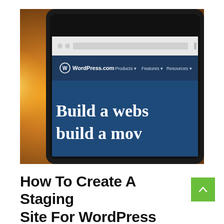[Figure (screenshot): Photo of a tablet displaying the WordPress.com website homepage with navigation bar showing 'Products', 'Features', 'Resources' menus and large text reading 'Build a webs... build a mov...' on a dark blue background. The tablet is photographed against a warm bokeh background with orange/golden light.]
How To Create A Staging Site For WordPress